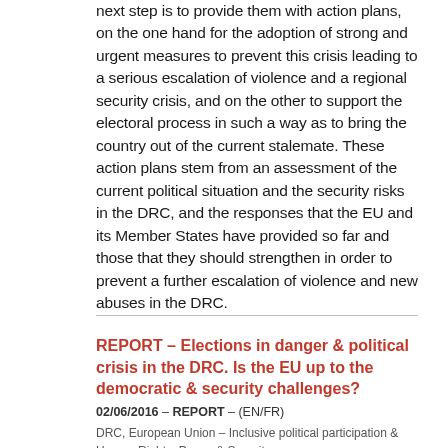next step is to provide them with action plans, on the one hand for the adoption of strong and urgent measures to prevent this crisis leading to a serious escalation of violence and a regional security crisis, and on the other to support the electoral process in such a way as to bring the country out of the current stalemate. These action plans stem from an assessment of the current political situation and the security risks in the DRC, and the responses that the EU and its Member States have provided so far and those that they should strengthen in order to prevent a further escalation of violence and new abuses in the DRC.
REPORT - Elections in danger & political crisis in the DRC. Is the EU up to the democratic & security challenges?
02/06/2016 - REPORT - (EN/FR)
DRC, European Union – Inclusive political participation & Human Rights, Peace & Security